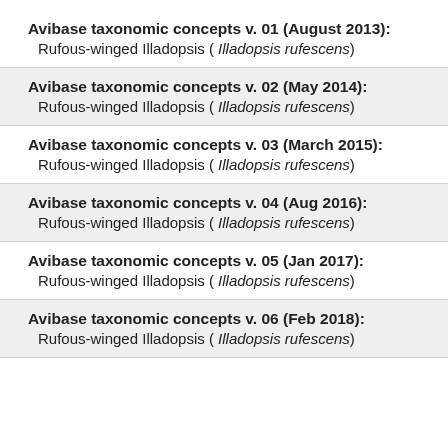Avibase taxonomic concepts v. 01 (August 2013):
Rufous-winged Illadopsis ( Illadopsis rufescens)
Avibase taxonomic concepts v. 02 (May 2014):
Rufous-winged Illadopsis ( Illadopsis rufescens)
Avibase taxonomic concepts v. 03 (March 2015):
Rufous-winged Illadopsis ( Illadopsis rufescens)
Avibase taxonomic concepts v. 04 (Aug 2016):
Rufous-winged Illadopsis ( Illadopsis rufescens)
Avibase taxonomic concepts v. 05 (Jan 2017):
Rufous-winged Illadopsis ( Illadopsis rufescens)
Avibase taxonomic concepts v. 06 (Feb 2018):
Rufous-winged Illadopsis ( Illadopsis rufescens)